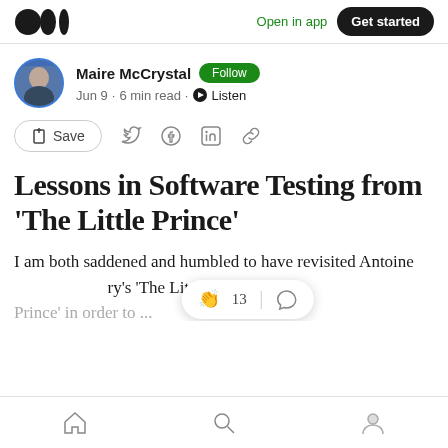Open in app | Get started
Maire McCrystal · Follow · Jun 9 · 6 min read · Listen
Save
Lessons in Software Testing from 'The Little Prince'
I am both saddened and humbled to have revisited Antoine ...ry's 'The Little Prince' ...